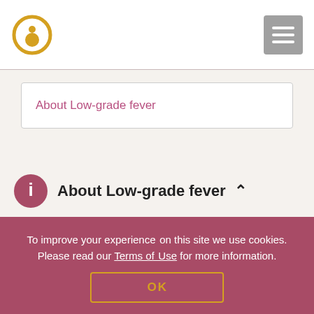About Low-grade fever
About Low-grade fever
About Low-grade fever
Low-grade fever is a continuous or fluctuating low fever, typically defined as never exceeding 38.5 degrees Celsius (about 101 degrees Fahrenheit). Febricula is an old term for a low fever. It is a non-specific finding but may point to…
To improve your experience on this site we use cookies. Please read our Terms of Use for more information. OK